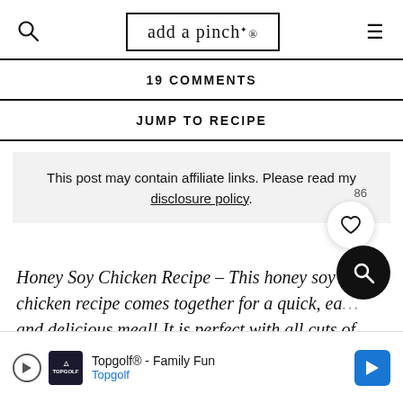add a pinch.
19 COMMENTS
JUMP TO RECIPE
This post may contain affiliate links. Please read my disclosure policy.
Honey Soy Chicken Recipe – This honey soy chicken recipe comes together for a quick, easy and delicious meal! It is perfect with all cuts of chicken
Topgolf® - Family Fun
Topgolf